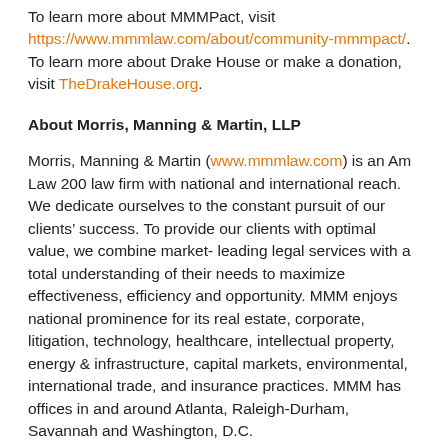To learn more about MMMPact, visit https://www.mmmlaw.com/about/community-mmmpact/. To learn more about Drake House or make a donation, visit TheDrakeHouse.org.
About Morris, Manning & Martin, LLP
Morris, Manning & Martin (www.mmmlaw.com) is an Am Law 200 law firm with national and international reach. We dedicate ourselves to the constant pursuit of our clients' success. To provide our clients with optimal value, we combine market-leading legal services with a total understanding of their needs to maximize effectiveness, efficiency and opportunity. MMM enjoys national prominence for its real estate, corporate, litigation, technology, healthcare, intellectual property, energy & infrastructure, capital markets, environmental, international trade, and insurance practices. MMM has offices in and around Atlanta, Raleigh-Durham, Savannah and Washington, D.C.